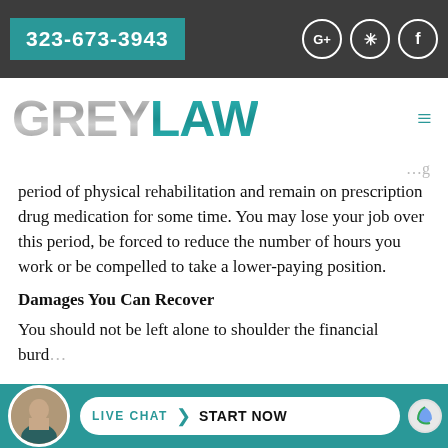323-673-3943
[Figure (logo): GREYLAW logo with metallic grey lettering and teal LAW portion, hamburger menu icon on right]
period of physical rehabilitation and remain on prescription drug medication for some time. You may lose your job over this period, be forced to reduce the number of hours you work or be compelled to take a lower-paying position.
Damages You Can Recover
You should not be left alone to shoulder the financial burd...
[Figure (infographic): Live Chat / Start Now pill button with attorney avatar at bottom of page]